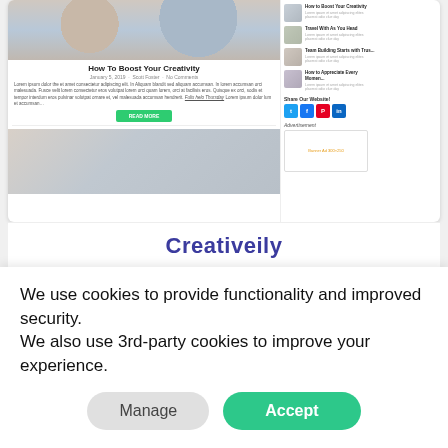[Figure (screenshot): Screenshot of a blog website showing an article titled 'How To Boost Your Creativity' with a photo of people working, article metadata, body text, a green Read More button, a sidebar with thumbnail article links, social share buttons, and an advertisement box. Below the article is a second article image.]
Creativeily
[Figure (screenshot): Partial screenshot of a blog website called 'Bloggist' showing browser chrome dots and a navigation bar with Home, Blog, Lifestyle, Relationship, Goals, Traveling menu items.]
We use cookies to provide functionality and improved security. We also use 3rd-party cookies to improve your experience.
Manage
Accept